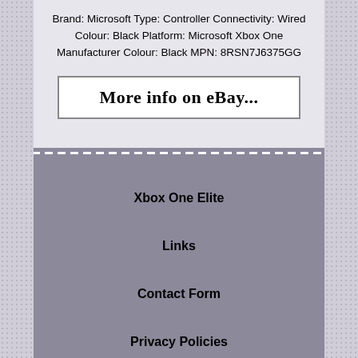Brand: Microsoft Type: Controller Connectivity: Wired Colour: Black Platform: Microsoft Xbox One Manufacturer Colour: Black MPN: 8RSN7J6375GG
More info on eBay...
Xbox One Elite
Links
Contact Form
Privacy Policies
Terms of service